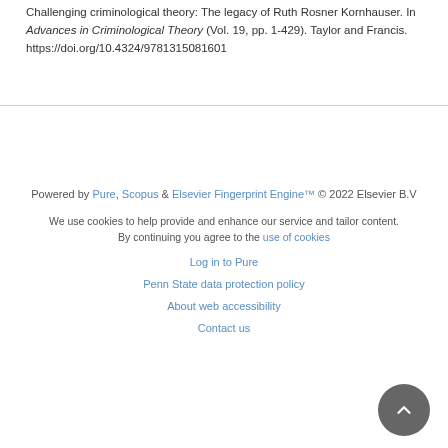Challenging criminological theory: The legacy of Ruth Rosner Kornhauser. In Advances in Criminological Theory (Vol. 19, pp. 1-429). Taylor and Francis. https://doi.org/10.4324/9781315081601
Powered by Pure, Scopus & Elsevier Fingerprint Engine™ © 2022 Elsevier B.V
We use cookies to help provide and enhance our service and tailor content. By continuing you agree to the use of cookies
Log in to Pure
Penn State data protection policy
About web accessibility
Contact us